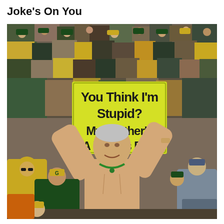Joke's On You
[Figure (photo): A shirtless middle-aged man with grey hair holds up a yellow sign at a Green Bay Packers football game. The sign reads: 'YOU THINK I'M STUPID? MY BROTHER'S A RAIDERS FAN!' The crowd behind him is filled with fans in green and gold Packers gear.]